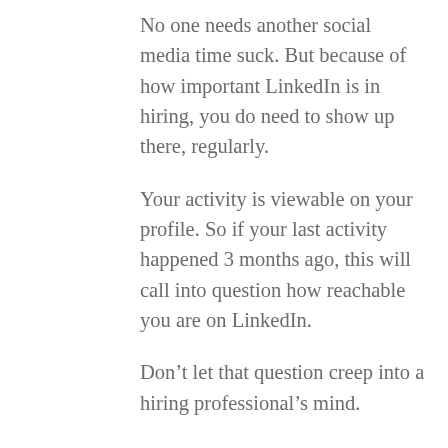No one needs another social media time suck. But because of how important LinkedIn is in hiring, you do need to show up there, regularly.
Your activity is viewable on your profile. So if your last activity happened 3 months ago, this will call into question how reachable you are on LinkedIn.
Don’t let that question creep into a hiring professional’s mind.
Keep active and visible on LinkedIn. To save time, make sure you’re engaged in high-value interactions, which is commenting on others’ content, or posting your own, or